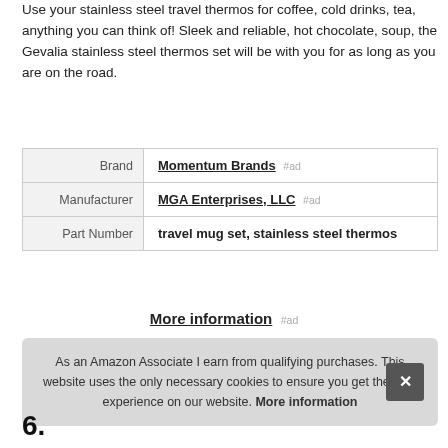Use your stainless steel travel thermos for coffee, cold drinks, tea, anything you can think of! Sleek and reliable, hot chocolate, soup, the Gevalia stainless steel thermos set will be with you for as long as you are on the road.
| Brand | Momentum Brands #ad |
| Manufacturer | MGA Enterprises, LLC #ad |
| Part Number | travel mug set, stainless steel thermos |
More information #ad
As an Amazon Associate I earn from qualifying purchases. This website uses the only necessary cookies to ensure you get the best experience on our website. More information
6.